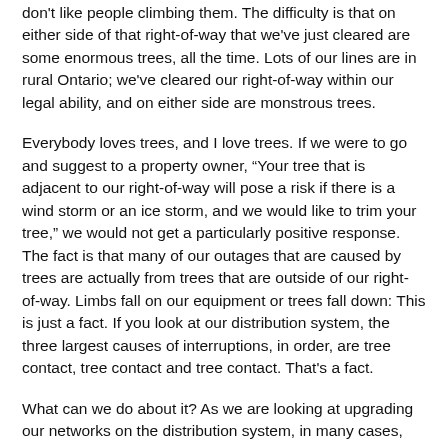don't like people climbing them. The difficulty is that on either side of that right-of-way that we've just cleared are some enormous trees, all the time. Lots of our lines are in rural Ontario; we've cleared our right-of-way within our legal ability, and on either side are monstrous trees.
Everybody loves trees, and I love trees. If we were to go and suggest to a property owner, “Your tree that is adjacent to our right-of-way will pose a risk if there is a wind storm or an ice storm, and we would like to trim your tree,” we would not get a particularly positive response. The fact is that many of our outages that are caused by trees are actually from trees that are outside of our right-of-way. Limbs fall on our equipment or trees fall down: This is just a fact. If you look at our distribution system, the three largest causes of interruptions, in order, are tree contact, tree contact and tree contact. That's a fact.
What can we do about it? As we are looking at upgrading our networks on the distribution system, in many cases,